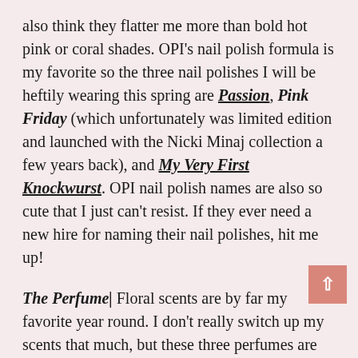also think they flatter me more than bold hot pink or coral shades. OPI's nail polish formula is my favorite so the three nail polishes I will be heftily wearing this spring are Passion, Pink Friday (which unfortunately was limited edition and launched with the Nicki Minaj collection a few years back), and My Very First Knockwurst. OPI nail polish names are also so cute that I just can't resist. If they ever need a new hire for naming their nail polishes, hit me up!
The Perfume| Floral scents are by far my favorite year round. I don't really switch up my scents that much, but these three perfumes are pretty knew to my collection and I've only had them for a few months. This winter I tried to w more "wintery" perfumes so I haven't really wo these three. So, I am really excited to dust these three off and start wearing them. Shocking, I